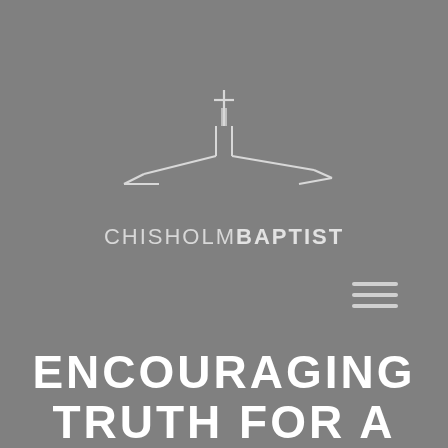[Figure (logo): Chisholm Baptist church logo: a white line-art drawing of a church building with a cross on top, and the text CHISHOLM BAPTIST below in light grey, where BAPTIST is bold.]
[Figure (other): Hamburger menu icon — three horizontal white/light grey lines stacked vertically, positioned at the right side of the page.]
ENCOURAGING TRUTH FOR A